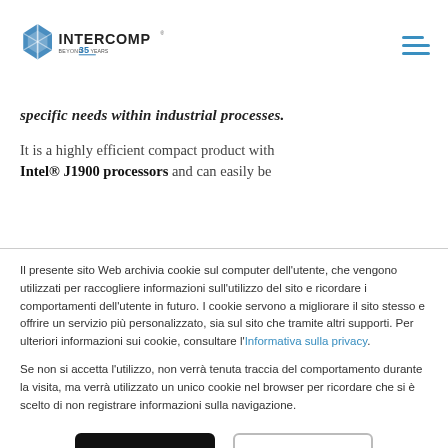[Figure (logo): Intercomp logo with diamond/hexagon icon and text 'INTERCOMP BEYOND 35 YEARS']
specific needs within industrial processes.
It is a highly efficient compact product with Intel® J1900 processors and can easily be
Il presente sito Web archivia cookie sul computer dell'utente, che vengono utilizzati per raccogliere informazioni sull'utilizzo del sito e ricordare i comportamenti dell'utente in futuro. I cookie servono a migliorare il sito stesso e offrire un servizio più personalizzato, sia sul sito che tramite altri supporti. Per ulteriori informazioni sui cookie, consultare l'Informativa sulla privacy.
Se non si accetta l'utilizzo, non verrà tenuta traccia del comportamento durante la visita, ma verrà utilizzato un unico cookie nel browser per ricordare che si è scelto di non registrare informazioni sulla navigazione.
Accetto
Rifiuto